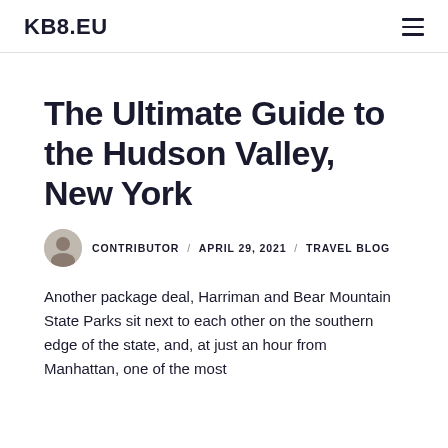KB8.EU
The Ultimate Guide to the Hudson Valley, New York
CONTRIBUTOR / APRIL 29, 2021 / TRAVEL BLOG
Another package deal, Harriman and Bear Mountain State Parks sit next to each other on the southern edge of the state, and, at just an hour from Manhattan, one of the most